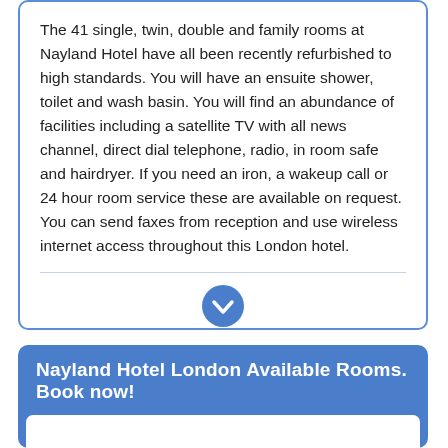The 41 single, twin, double and family rooms at Nayland Hotel have all been recently refurbished to high standards. You will have an ensuite shower, toilet and wash basin. You will find an abundance of facilities including a satellite TV with all news channel, direct dial telephone, radio, in room safe and hairdryer. If you need an iron, a wakeup call or 24 hour room service these are available on request. You can send faxes from reception and use wireless internet access throughout this London hotel.
[Figure (other): Blue circular chevron/down-arrow button]
Nayland Hotel London Available Rooms. Book now!